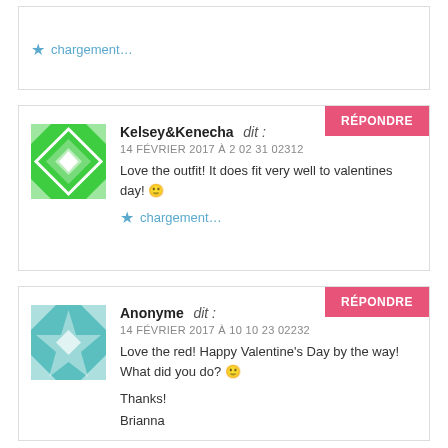chargement…
RÉPONDRE
Kelsey&Kenecha dit :
14 FÉVRIER 2017 À 2 02 31 02312
Love the outfit! It does fit very well to valentines day! 🙂
chargement…
RÉPONDRE
Anonyme dit :
14 FÉVRIER 2017 À 10 10 23 02232
Love the red! Happy Valentine's Day by the way! What did you do? 🙂
Thanks!
Brianna